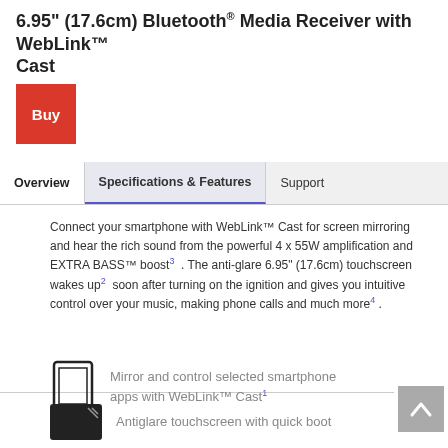6.95" (17.6cm) Bluetooth® Media Receiver with WebLink™ Cast
[Figure (other): Red 'Buy' button]
Overview | Specifications & Features | Support
Connect your smartphone with WebLink™ Cast for screen mirroring and hear the rich sound from the powerful 4 x 55W amplification and EXTRA BASS™ boost³ . The anti-glare 6.95" (17.6cm) touchscreen wakes up² soon after turning on the ignition and gives you intuitive control over your music, making phone calls and much more⁴ .
Mirror and control selected smartphone apps with WebLink™ Cast¹
Antiglare touchscreen with quick boot